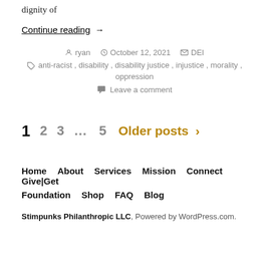dignity of
Continue reading  →
ryan   October 12, 2021   DEI
anti-racist, disability, disability justice, injustice, morality, oppression
Leave a comment
1  2  3  …  5  Older posts  >
Home  About  Services  Mission  Connect  Give|Get  Foundation  Shop  FAQ  Blog
Stimpunks Philanthropic LLC, Powered by WordPress.com.